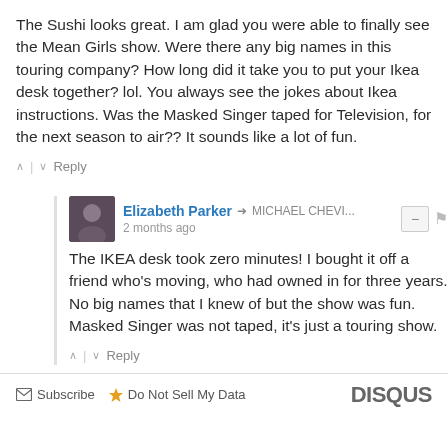The Sushi looks great. I am glad you were able to finally see the Mean Girls show. Were there any big names in this touring company? How long did it take you to put your Ikea desk together? lol. You always see the jokes about Ikea instructions. Was the Masked Singer taped for Television, for the next season to air?? It sounds like a lot of fun.
Elizabeth Parker → MICHAEL CHEVI... 2 months ago
The IKEA desk took zero minutes! I bought it off a friend who's moving, who had owned in for three years. No big names that I knew of but the show was fun. Masked Singer was not taped, it's just a touring show.
Subscribe  Do Not Sell My Data   DISQUS